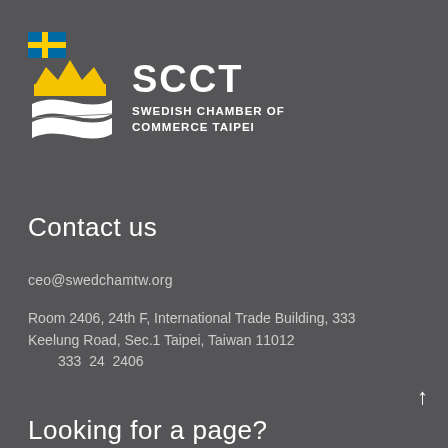[Figure (logo): SCCT Swedish Chamber of Commerce Taipei logo — crown and layered ribbon icon in gold and white, with blue/yellow Swedish flag emblem in top-left corner, beside bold white text 'SCCT' and subtitle 'SWEDISH CHAMBER OF COMMERCE TAIPEI']
Contact us
ceo@swedchamtw.org
Room 2406, 24th F, International Trade Building, 333 Keelung Road, Sec.1 Taipei, Taiwan 11012
333 24 2406
Looking for a page?